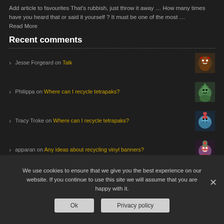Add article to favourites That's rubbish, just throw it away … How many times have you heard that or said it yourself ? It must be one of the most …
Read More
Recent comments
Jesse Forgeard on Talk
Philippa on Where can I recycle tetrapaks?
Tracy Troke on Where can I recycle tetrapaks?
apparan on Any ideas about recycling vinyl banners?
We use cookies to ensure that we give you the best experience on our website. If you continue to use this site we will assume that you are happy with it.